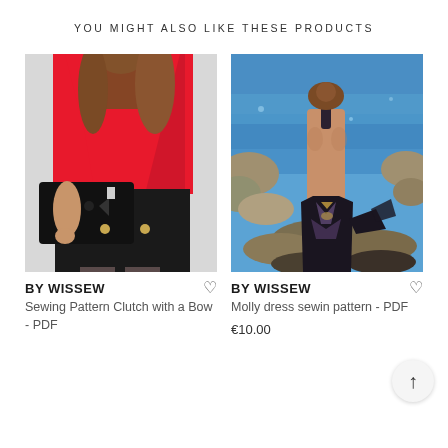YOU MIGHT ALSO LIKE THESE PRODUCTS
[Figure (photo): Woman wearing a red top and black skirt, holding a black bow clutch bag]
BY WISSEW
Sewing Pattern Clutch with a Bow - PDF
[Figure (photo): Woman in a backless halter-neck patterned dress standing on rocky shore by blue sea water]
BY WISSEW
Molly dress sewin pattern - PDF
€10.00